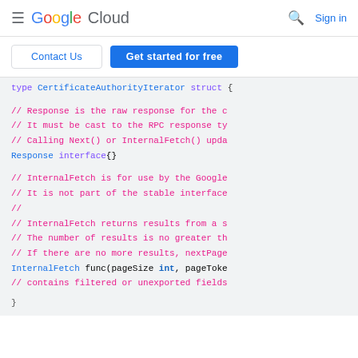Google Cloud  Sign in
Contact Us  Get started for free
[Figure (screenshot): Google Cloud documentation page showing Go code snippet for CertificateAuthorityIterator struct with comments about Response interface and InternalFetch function]